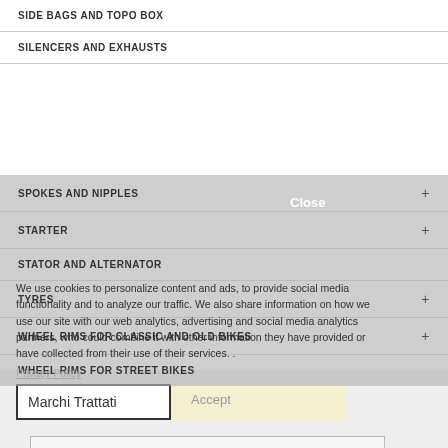SIDE BAGS AND TOPO BOX
SILENCERS AND EXHAUSTS
SPOKES AND NIPPLES
STARTER
STATOR AND ALTERNATOR
TYRES
WHEEL RIMS FOR CLASSIC AND OLD BIKES
WHEEL RIMS FOR STREET BIKES
We use cookies to personalize content and ads, to provide social media functionality and to analyze our traffic. We also share information on how we use our site with our web analytics, advertising and social media analytics partners, who could combine it with other information they have provided or have collected from their use of their services. .
Privacy Policy
Close
Marchi Trattati
Accept
--- Select Manufacturer ---